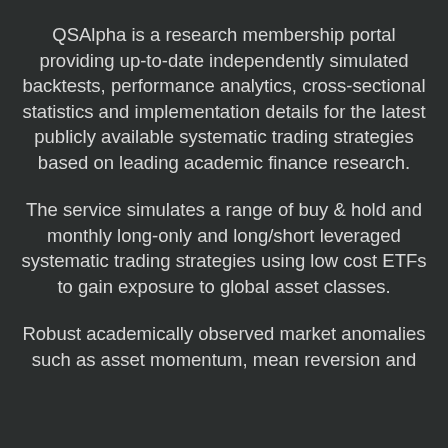QSAlpha is a research membership portal providing up-to-date independently simulated backtests, performance analytics, cross-sectional statistics and implementation details for the latest publicly available systematic trading strategies based on leading academic finance research.
The service simulates a range of buy & hold and monthly long-only and long/short leveraged systematic trading strategies using low cost ETFs to gain exposure to global asset classes.
Robust academically observed market anomalies such as asset momentum, mean reversion and